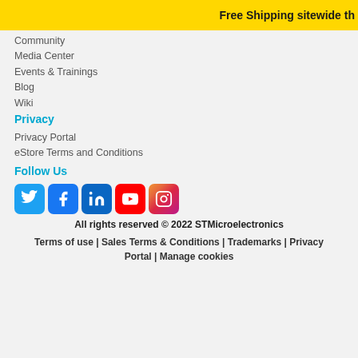Free Shipping sitewide th
Community
Media Center
Events & Trainings
Blog
Wiki
Privacy
Privacy Portal
eStore Terms and Conditions
Follow Us
[Figure (infographic): Social media icons: Twitter (blue bird), Facebook (blue f), LinkedIn (blue in), YouTube (red play button), Instagram (gradient camera)]
All rights reserved © 2022 STMicroelectronics
Terms of use | Sales Terms & Conditions | Trademarks | Privacy Portal | Manage cookies